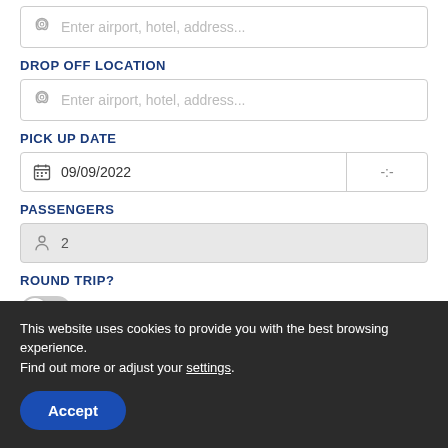[Figure (screenshot): Input field with pin icon and placeholder text 'Enter airport, hotel, address...' (pick up location, partially visible at top)]
DROP OFF LOCATION
[Figure (screenshot): Input field with pin icon and placeholder text 'Enter airport, hotel, address...' (drop off location)]
PICK UP DATE
[Figure (screenshot): Date input field showing calendar icon and date 09/09/2022, with a time selector showing -:- on the right]
PASSENGERS
[Figure (screenshot): Passengers input field with person icon showing value 2, grey background]
ROUND TRIP?
[Figure (screenshot): Toggle switch in OFF position with label NO]
This website uses cookies to provide you with the best browsing experience.
Find out more or adjust your settings.